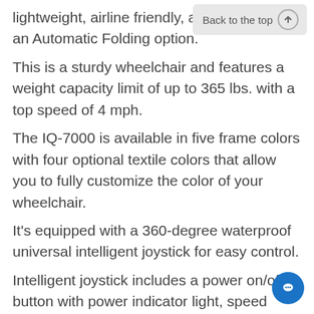lightweight, airline friendly, and an Automatic Folding option.
This is a sturdy wheelchair and features a weight capacity limit of up to 365 lbs. with a top speed of 4 mph.
The IQ-7000 is available in five frame colors with four optional textile colors that allow you to fully customize the color of your wheelchair.
It's equipped with a 360-degree waterproof universal intelligent joystick for easy control.
Intelligent joystick includes a power on/off button with power indicator light, speed selection buttons, and horn.
The 12AH lithium-ion battery powers two 250W brushless DC motors that deliver a range up to 15